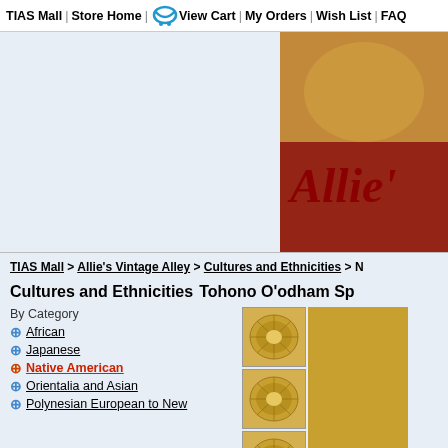TIAS Mall | Store Home | View Cart | My Orders | Wish List | FAQ
[Figure (screenshot): Store banner image showing Allie's Vintage Alley logo with decorative background]
TIAS Mall > Allie's Vintage Alley > Cultures and Ethnicities > N
Cultures and Ethnicities   Tohono O'odham Sp
By Category
African
Japanese
Native American
Orientalia and Asian
Polynesian European to New
[Figure (photo): Three thumbnail images of woven basket items (Tohono O'odham)]